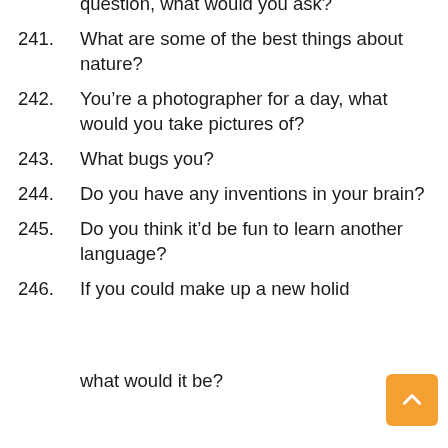question, what would you ask?
241. What are some of the best things about nature?
242. You’re a photographer for a day, what would you take pictures of?
243. What bugs you?
244. Do you have any inventions in your brain?
245. Do you think it’d be fun to learn another language?
246. If you could make up a new holiday, what would it be?